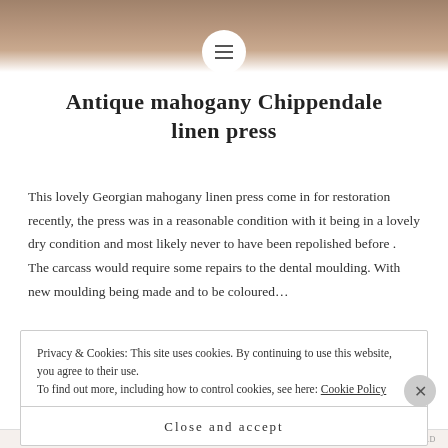[Figure (photo): Top strip showing antique mahogany furniture, partially visible photograph]
Antique mahogany Chippendale linen press
This lovely Georgian mahogany linen press come in for restoration recently, the press was in a reasonable condition with it being in a lovely dry condition and most likely never to have been repolished before . The carcass would require some repairs to the dental moulding. With new moulding being made and to be coloured...
Privacy & Cookies: This site uses cookies. By continuing to use this website, you agree to their use.
To find out more, including how to control cookies, see here: Cookie Policy
Close and accept